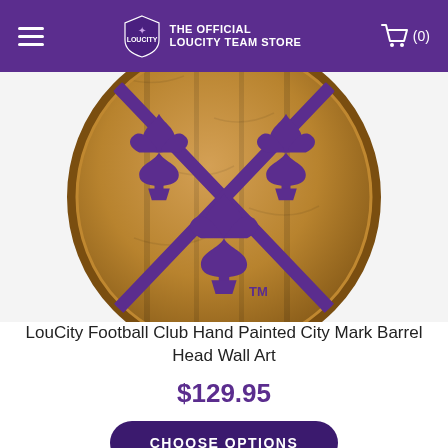THE OFFICIAL LOUCITY TEAM STORE
[Figure (photo): A wooden barrel head wall art with the LouCity Football Club City Mark logo painted in purple — three fleur-de-lis arranged in a triangle pattern with an X crossing behind them, and a TM mark, on a natural oak wood barrel lid.]
LouCity Football Club Hand Painted City Mark Barrel Head Wall Art
$129.95
CHOOSE OPTIONS